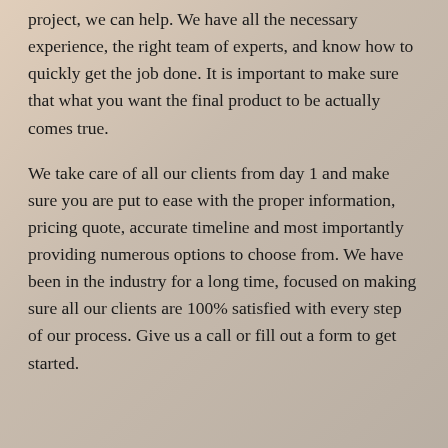project, we can help. We have all the necessary experience, the right team of experts, and know how to quickly get the job done. It is important to make sure that what you want the final product to be actually comes true.
We take care of all our clients from day 1 and make sure you are put to ease with the proper information, pricing quote, accurate timeline and most importantly providing numerous options to choose from. We have been in the industry for a long time, focused on making sure all our clients are 100% satisfied with every step of our process. Give us a call or fill out a form to get started.